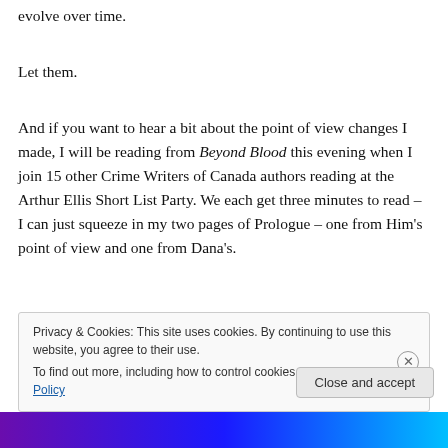evolve over time.
Let them.
And if you want to hear a bit about the point of view changes I made, I will be reading from Beyond Blood this evening when I join 15 other Crime Writers of Canada authors reading at the Arthur Ellis Short List Party. We each get three minutes to read – I can just squeeze in my two pages of Prologue – one from Him's point of view and one from Dana's.
Privacy & Cookies: This site uses cookies. By continuing to use this website, you agree to their use.
To find out more, including how to control cookies, see here: Cookie Policy
Close and accept